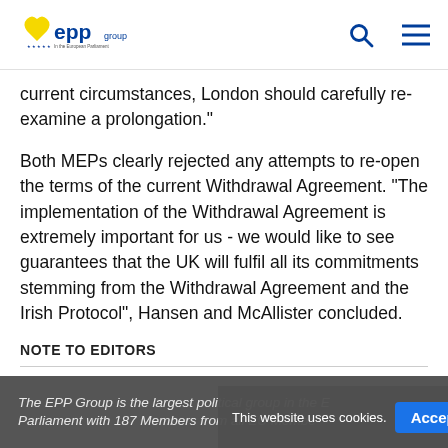EPP Group - In the European Parliament
current circumstances, London should carefully re-examine a prolongation."
Both MEPs clearly rejected any attempts to re-open the terms of the current Withdrawal Agreement. “The implementation of the Withdrawal Agreement is extremely important for us - we would like to see guarantees that the UK will fulfil all its commitments stemming from the Withdrawal Agreement and the Irish Protocol”, Hansen and McAllister concluded.
NOTE TO EDITORS
The EPP Group is the largest political group in the European Parliament with 187 Members from all EU Member